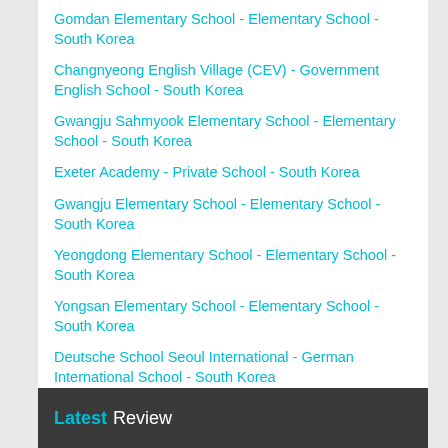Gomdan Elementary School - Elementary School - South Korea
Changnyeong English Village (CEV) - Government English School - South Korea
Gwangju Sahmyook Elementary School - Elementary School - South Korea
Exeter Academy - Private School - South Korea
Gwangju Elementary School - Elementary School - South Korea
Yeongdong Elementary School - Elementary School - South Korea
Yongsan Elementary School - Elementary School - South Korea
Deutsche School Seoul International - German International School - South Korea
Lee & Moon Institute - Private School - South Korea
Latest Review